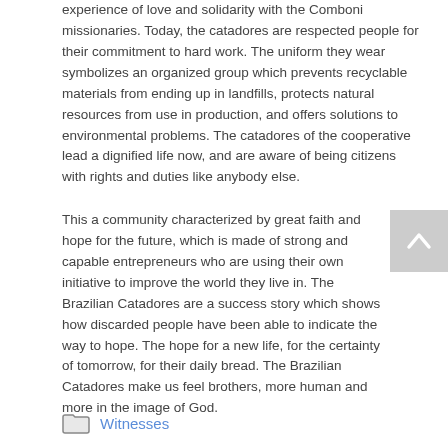experience of love and solidarity with the Comboni missionaries. Today, the catadores are respected people for their commitment to hard work. The uniform they wear symbolizes an organized group which prevents recyclable materials from ending up in landfills, protects natural resources from use in production, and offers solutions to environmental problems. The catadores of the cooperative lead a dignified life now, and are aware of being citizens with rights and duties like anybody else.
This a community characterized by great faith and hope for the future, which is made of strong and capable entrepreneurs who are using their own initiative to improve the world they live in. The Brazilian Catadores are a success story which shows how discarded people have been able to indicate the way to hope. The hope for a new life, for the certainty of tomorrow, for their daily bread. The Brazilian Catadores make us feel brothers, more human and more in the image of God.
Witnesses